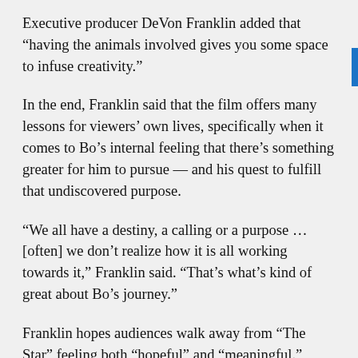Executive producer DeVon Franklin added that “having the animals involved gives you some space to infuse creativity.”
In the end, Franklin said that the film offers many lessons for viewers’ own lives, specifically when it comes to Bo’s internal feeling that there’s something greater for him to pursue — and his quest to fulfill that undiscovered purpose.
“We all have a destiny, a calling or a purpose … [often] we don’t realize how it is all working towards it,” Franklin said. “That’s what’s kind of great about Bo’s journey.”
Franklin hopes audiences walk away from “The Star” feeling both “hopeful” and “meaningful.”